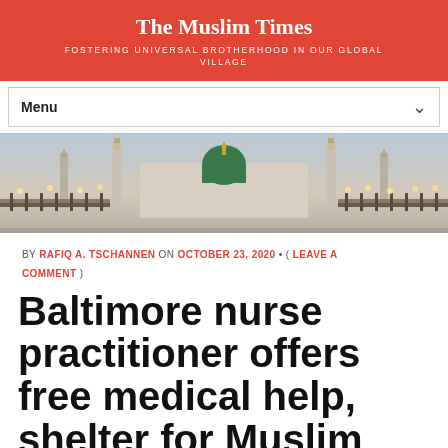The Muslim Times
FOSTERING UNIVERSAL BROTHERHOOD IN OUR GLOBAL VILLAGE
[Figure (illustration): Navigation menu bar with 'Menu' label and dropdown chevron on white background]
[Figure (photo): Panoramic photograph of Masjid al-Nabawi (Prophet's Mosque) in Medina with green dome, minarets, and courtyard with lights at dusk]
BY RAFIQ A. TSCHANNEN ON OCTOBER 23, 2020 · ( LEAVE A COMMENT )
Baltimore nurse practitioner offers free medical help, shelter for Muslim